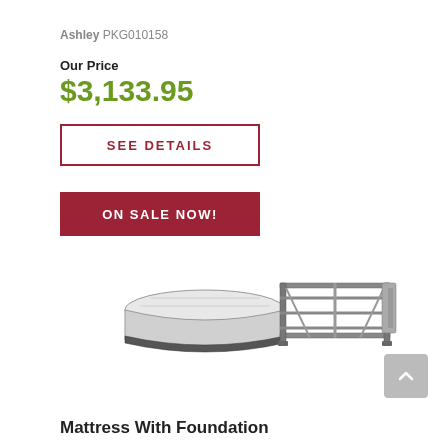Ashley PKG010158
Our Price
$3,133.95
SEE DETAILS
ON SALE NOW!
[Figure (photo): Product image showing a mattress and a metal bed foundation/frame side by side on white background]
Mattress With Foundation